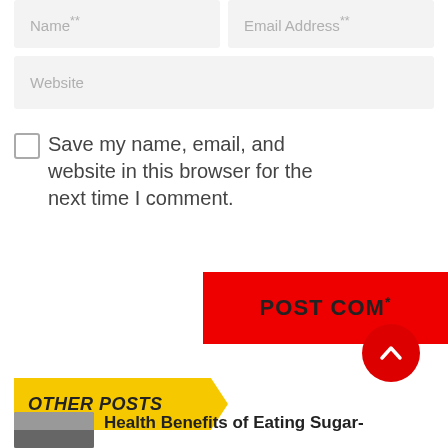Name**
Email Address**
Website
Save my name, email, and website in this browser for the next time I comment.
POST COM*
OTHER POSTS
Health Benefits of Eating Sugar-